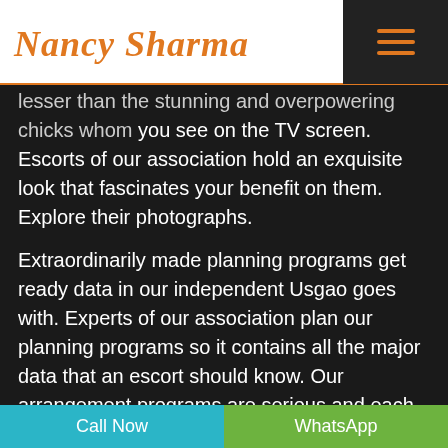Nancy Sharma
lesser than the stunning and overpowering chicks whom you see on the TV screen. Escorts of our association hold an exquisite look that fascinates your benefit on them. Explore their photographs.
Extraordinarily made planning programs get ready data in our independent Usgao goes with. Experts of our association plan our planning programs so it contains all the major data that an escort should know. Our arrangement programs are serious and each escort of our office needs to pass it with splendid engravings. Staying as one of the most reliable workplaces in this industry, we recollect incalculable estimable escorts for our
Call Now   WhatsApp